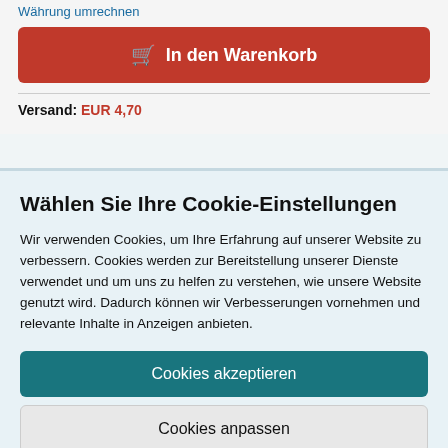Währung umrechnen
In den Warenkorb
Versand: EUR 4,70
Wählen Sie Ihre Cookie-Einstellungen
Wir verwenden Cookies, um Ihre Erfahrung auf unserer Website zu verbessern. Cookies werden zur Bereitstellung unserer Dienste verwendet und um uns zu helfen zu verstehen, wie unsere Website genutzt wird. Dadurch können wir Verbesserungen vornehmen und relevante Inhalte in Anzeigen anbieten.
Cookies akzeptieren
Cookies anpassen